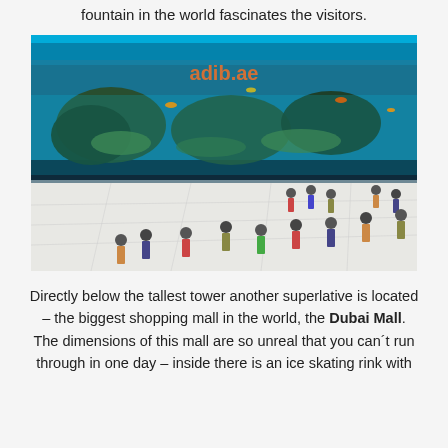fountain in the world fascinates the visitors.
[Figure (photo): Aerial view of the Dubai Mall aquarium showing a large glass-fronted tank with coral reef and fish, with visitors walking below on a white floor.]
Directly below the tallest tower another superlative is located – the biggest shopping mall in the world, the Dubai Mall. The dimensions of this mall are so unreal that you can´t run through in one day – inside there is an ice skating rink with